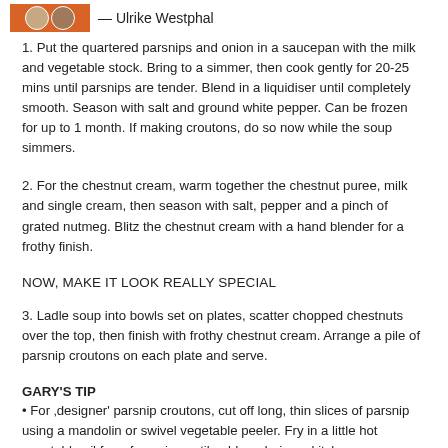— Ulrike Westphal
1. Put the quartered parsnips and onion in a saucepan with the milk and vegetable stock. Bring to a simmer, then cook gently for 20-25 mins until parsnips are tender. Blend in a liquidiser until completely smooth. Season with salt and ground white pepper. Can be frozen for up to 1 month. If making croutons, do so now while the soup simmers.
2. For the chestnut cream, warm together the chestnut puree, milk and single cream, then season with salt, pepper and a pinch of grated nutmeg. Blitz the chestnut cream with a hand blender for a frothy finish.
NOW, MAKE IT LOOK REALLY SPECIAL
3. Ladle soup into bowls set on plates, scatter chopped chestnuts over the top, then finish with frothy chestnut cream. Arrange a pile of parsnip croutons on each plate and serve.
GARY'S TIP
• For 'designer' parsnip croutons, cut off long, thin slices of parsnip using a mandolin or swivel vegetable peeler. Fry in a little hot vegetable oil for a few mins until golden, drain on kitchen